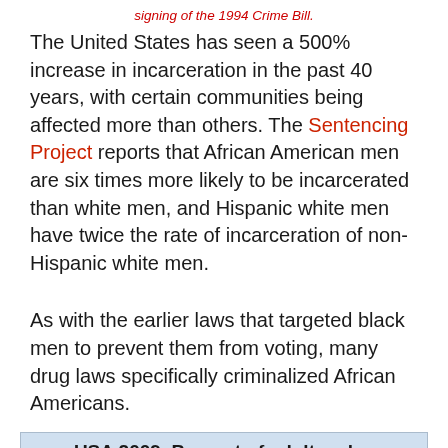signing of the 1994 Crime Bill.
The United States has seen a 500% increase in incarceration in the past 40 years, with certain communities being affected more than others. The Sentencing Project reports that African American men are six times more likely to be incarcerated than white men, and Hispanic white men have twice the rate of incarceration of non-Hispanic white men.
As with the earlier laws that targeted black men to prevent them from voting, many drug laws specifically criminalized African Americans.
USA 2009. Percent of adult males incarcerated